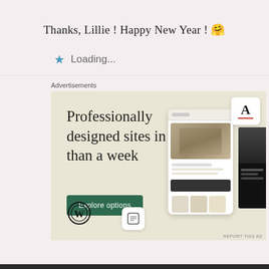Thanks, Lillie ! Happy New Year ! 🤗
★ Loading...
Advertisements
[Figure (screenshot): WordPress.com advertisement banner with text 'Professionally designed sites in less than a week', a green 'Explore options' button, WordPress logo, and screenshots of example websites on a beige background.]